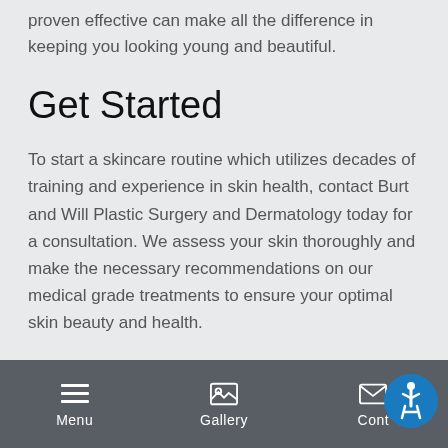proven effective can make all the difference in keeping you looking young and beautiful.
Get Started
To start a skincare routine which utilizes decades of training and experience in skin health, contact Burt and Will Plastic Surgery and Dermatology today for a consultation. We assess your skin thoroughly and make the necessary recommendations on our medical grade treatments to ensure your optimal skin beauty and health.
Menu | Gallery | Cont